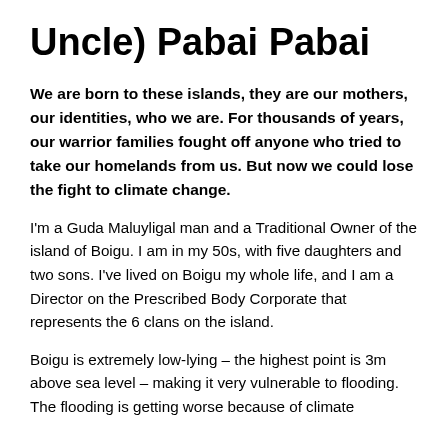Uncle) Pabai Pabai
We are born to these islands, they are our mothers, our identities, who we are. For thousands of years, our warrior families fought off anyone who tried to take our homelands from us. But now we could lose the fight to climate change.
I'm a Guda Maluyligal man and a Traditional Owner of the island of Boigu. I am in my 50s, with five daughters and two sons. I've lived on Boigu my whole life, and I am a Director on the Prescribed Body Corporate that represents the 6 clans on the island.
Boigu is extremely low-lying – the highest point is 3m above sea level – making it very vulnerable to flooding. The flooding is getting worse because of climate